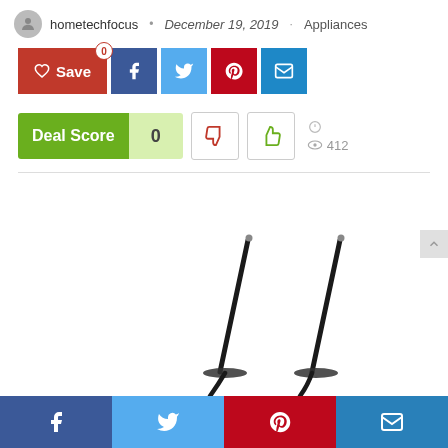hometechfocus • December 19, 2019 · Appliances
[Figure (screenshot): Social share buttons: Save (red), Facebook (dark blue), Twitter (light blue), Pinterest (red), Email (blue)]
[Figure (screenshot): Deal Score widget showing score of 0, thumbs down and thumbs up vote buttons, comment icon, and 412 views]
[Figure (photo): Product photo showing two antenna/probe-like objects on white background]
[Figure (screenshot): Bottom share bar with Facebook, Twitter, Pinterest, and Email buttons]